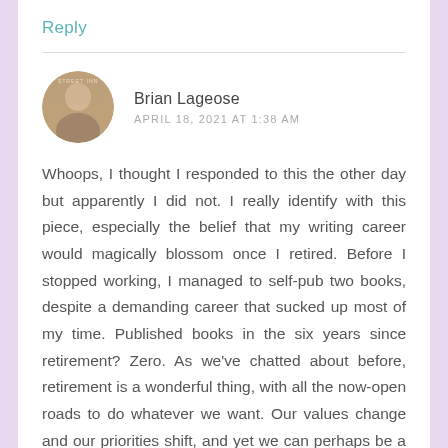Reply
[Figure (photo): Circular avatar photo of a person standing in front of a building with 'Street Inn' visible, sepia-toned]
Brian Lageose
APRIL 18, 2021 AT 1:38 AM
Whoops, I thought I responded to this the other day but apparently I did not. I really identify with this piece, especially the belief that my writing career would magically blossom once I retired. Before I stopped working, I managed to self-pub two books, despite a demanding career that sucked up most of my time. Published books in the six years since retirement? Zero. As we've chatted about before, retirement is a wonderful thing, with all the now-open roads to do whatever we want. Our values change and our priorities shift, and yet we can perhaps be a victim of the